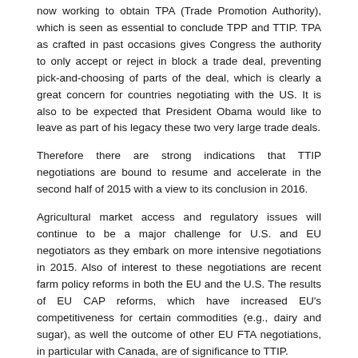now working to obtain TPA (Trade Promotion Authority), which is seen as essential to conclude TPP and TTIP. TPA as crafted in past occasions gives Congress the authority to only accept or reject in block a trade deal, preventing pick-and-choosing of parts of the deal, which is clearly a great concern for countries negotiating with the US. It is also to be expected that President Obama would like to leave as part of his legacy these two very large trade deals.
Therefore there are strong indications that TTIP negotiations are bound to resume and accelerate in the second half of 2015 with a view to its conclusion in 2016.
Agricultural market access and regulatory issues will continue to be a major challenge for U.S. and EU negotiators as they embark on more intensive negotiations in 2015. Also of interest to these negotiations are recent farm policy reforms in both the EU and the U.S. The results of EU CAP reforms, which have increased EU's competitiveness for certain commodities (e.g., dairy and sugar), as well the outcome of other EU FTA negotiations, in particular with Canada, are of significance to TTIP.
How far will these developments inform the EU negotiating position?
It would be expected that its domestic constraints on sensitive…